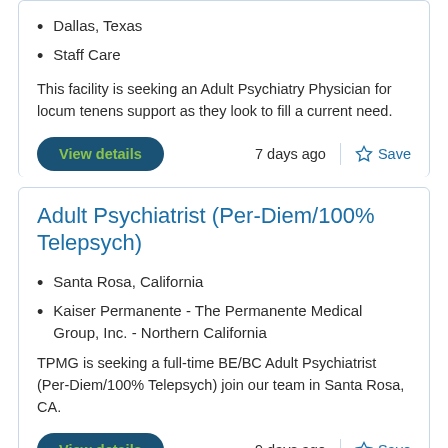Dallas, Texas
Staff Care
This facility is seeking an Adult Psychiatry Physician for locum tenens support as they look to fill a current need.
View details
7 days ago
Save
Adult Psychiatrist (Per-Diem/100% Telepsych)
Santa Rosa, California
Kaiser Permanente - The Permanente Medical Group, Inc. - Northern California
TPMG is seeking a full-time BE/BC Adult Psychiatrist (Per-Diem/100% Telepsych) join our team in Santa Rosa, CA.
View details
9 days ago
Save